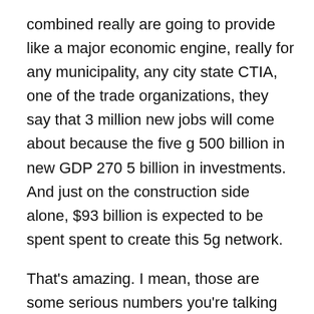combined really are going to provide like a major economic engine, really for any municipality, any city state CTIA, one of the trade organizations, they say that 3 million new jobs will come about because the five g 500 billion in new GDP 270 5 billion in investments. And just on the construction side alone, $93 billion is expected to be spent spent to create this 5g network.
That's amazing. I mean, those are some serious numbers you're talking about right there?
Yes, yes. And think of all of the job creation that...